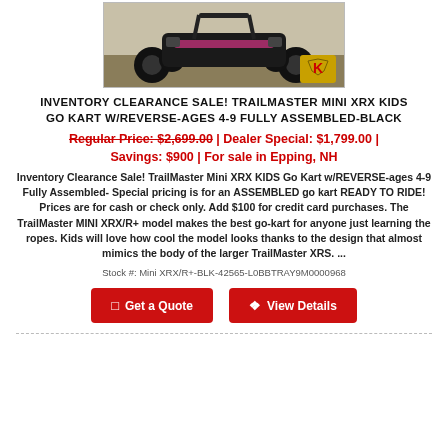[Figure (photo): Photo of a black TrailMaster Mini XRX kids go kart on grass, with a dealer logo (K) in the bottom right corner of the image.]
INVENTORY CLEARANCE SALE! TRAILMASTER MINI XRX KIDS GO KART W/REVERSE-AGES 4-9 FULLY ASSEMBLED-BLACK
Regular Price: $2,699.00 | Dealer Special: $1,799.00 | Savings: $900 | For sale in Epping, NH
Inventory Clearance Sale! TrailMaster Mini XRX KIDS Go Kart w/REVERSE-ages 4-9 Fully Assembled- Special pricing is for an ASSEMBLED go kart READY TO RIDE! Prices are for cash or check only. Add $100 for credit card purchases. The TrailMaster MINI XRX/R+ model makes the best go-kart for anyone just learning the ropes. Kids will love how cool the model looks thanks to the design that almost mimics the body of the larger TrailMaster XRS. ...
Stock #: Mini XRX/R+-BLK-42565-L0BBTRAY9M0000968
Get a Quote
View Details